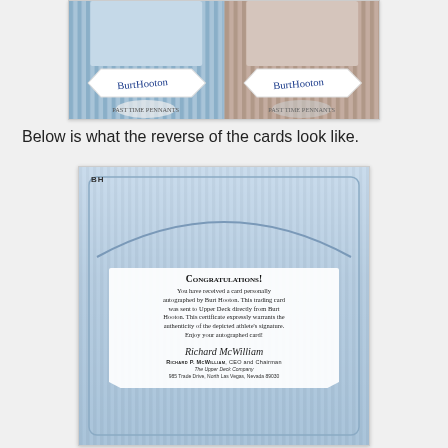[Figure (photo): Two side-by-side autographed baseball trading cards (front faces) showing a player holding a pennant with signatures in blue ink over white pennant shapes, with blue striped background. Los Angeles Dodgers Past Time Pennants series.]
Below is what the reverse of the cards look like.
[Figure (photo): Back of an Upper Deck Past Time Pennants autographed baseball card for Burt Hooton (BH). Features the Dodgers shield logo, Past Time Pennants banner, and a congratulations certificate text signed by Richard P. McWilliam, CEO and Chairman of The Upper Deck Company, 5909 Sea Otter Place, Carlsbad, California. Text reads: CONGRATULATIONS! You have received a card personally autographed by Burt Hooton. This trading card was sent to Upper Deck directly from Burt Hooton. This certificate expressly warrants the authenticity of the depicted athlete's signature. Enjoy your autographed card!]